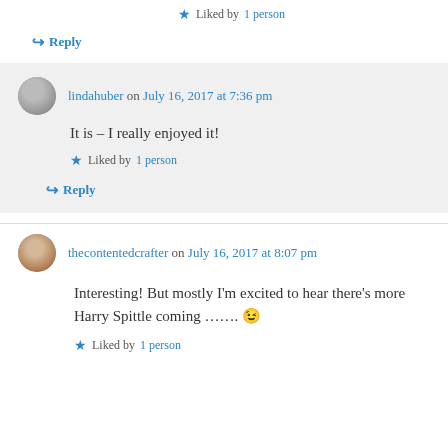★ Liked by 1 person
↪ Reply
lindahuber on July 16, 2017 at 7:36 pm
It is – I really enjoyed it!
★ Liked by 1 person
↪ Reply
thecontentedcrafter on July 16, 2017 at 8:07 pm
Interesting! But mostly I'm excited to hear there's more Harry Spittle coming ……. 😉
★ Liked by 1 person